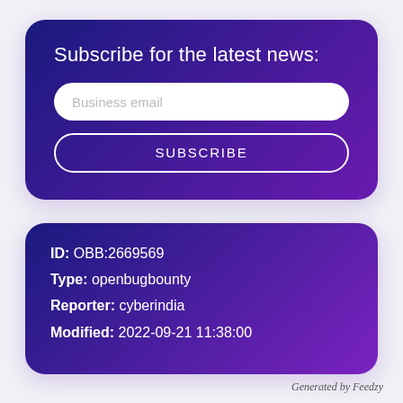Subscribe for the latest news:
Business email
SUBSCRIBE
ID: OBB:2669569
Type: openbugbounty
Reporter: cyberindia
Modified: 2022-09-21 11:38:00
Generated by Feedzy